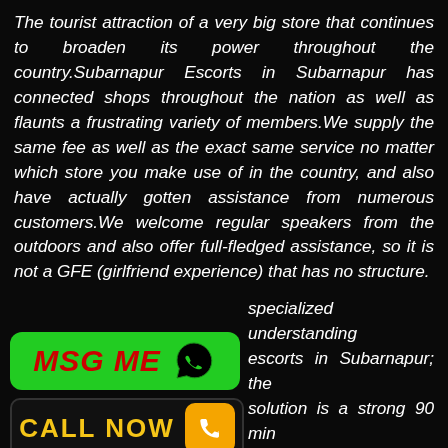The tourist attraction of a very big store that continues to broaden its power throughout the country.Subarnapur Escorts in Subarnapur has connected shops throughout the nation as well as flaunts a frustrating variety of members.We supply the same fee as well as the exact same service no matter which store you make use of in the country, and also have actually gotten assistance from numerous customers.We welcome regular speakers from the outdoors and also offer full-fledged assistance, so it is not a GFE (girlfriend experience) that has no structure.
[Figure (other): Green 'MSG ME' button with WhatsApp icon on the left side of the bottom section]
specialized understanding escorts in Subarnapur; the solution is a strong 90 min ne care of our customers. By
[Figure (other): Black 'CALL NOW' button with yellow text and orange phone icon on the left side of the bottom section]